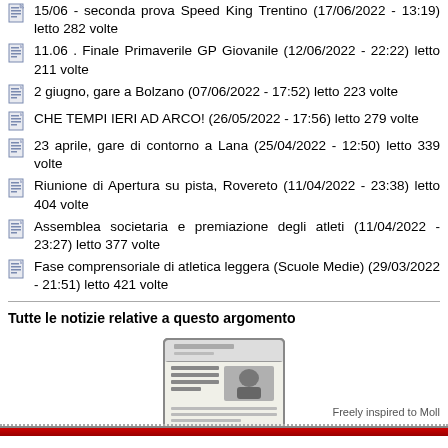15/06 - seconda prova Speed King Trentino (17/06/2022 - 13:19) letto 282 volte
11.06 . Finale Primaverile GP Giovanile (12/06/2022 - 22:22) letto 211 volte
2 giugno, gare a Bolzano (07/06/2022 - 17:52) letto 223 volte
CHE TEMPI IERI AD ARCO! (26/05/2022 - 17:56) letto 279 volte
23 aprile, gare di contorno a Lana (25/04/2022 - 12:50) letto 339 volte
Riunione di Apertura su pista, Rovereto (11/04/2022 - 23:38) letto 404 volte
Assemblea societaria e premiazione degli atleti (11/04/2022 - 23:27) letto 377 volte
Fase comprensoriale di atletica leggera (Scuole Medie) (29/03/2022 - 21:51) letto 421 volte
Tutte le notizie relative a questo argomento
[Figure (illustration): Newspaper icon illustration]
Freely inspired to Moll